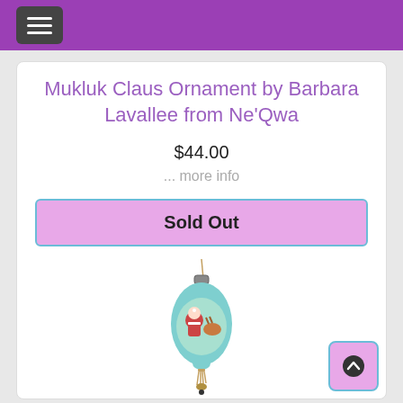☰
Mukluk Claus Ornament by Barbara Lavallee from Ne'Qwa
$44.00
... more info
Sold Out
[Figure (photo): A teardrop-shaped ornament in light blue/teal with Santa Claus scene painted on it, with a gold tassel at the bottom and a hanging cord at the top.]